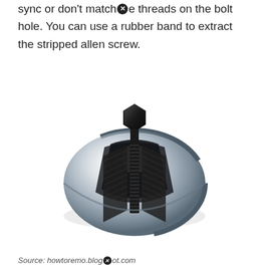sync or don't match [blocked] e threads on the bolt hole. You can use a rubber band to extract the stripped allen screw.
[Figure (photo): A chrome and black cylindrical bolt extractor tool with a hexagonal bolt through the center, showing threaded gripping surfaces inside the circular housing.]
Source: howtoremo.blog[blocked]ot.com